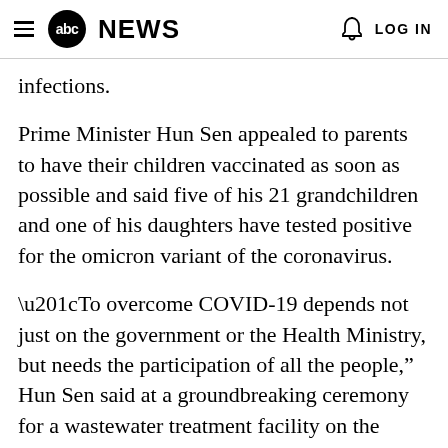≡ abc NEWS  🔔  LOG IN
infections.
Prime Minister Hun Sen appealed to parents to have their children vaccinated as soon as possible and said five of his 21 grandchildren and one of his daughters have tested positive for the omicron variant of the coronavirus.
“To overcome COVID-19 depends not just on the government or the Health Ministry, but needs the participation of all the people,” Hun Sen said at a groundbreaking ceremony for a wastewater treatment facility on the outskirts of Phnom Penh.